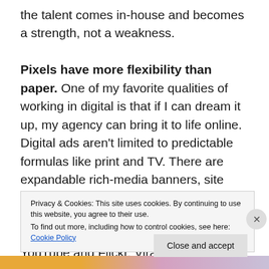the talent comes in-house and becomes a strength, not a weakness. Pixels have more flexibility than paper. One of my favorite qualities of working in digital is that if I can dream it up, my agency can bring it to life online. Digital ads aren't limited to predictable formulas like print and TV. There are expandable rich-media banners, site takeovers and microsites. Mobile sites and mobile apps. Social media strategies that span Facebook. Twitter. YouTube and Flickr. Viral. seeded.
Privacy & Cookies: This site uses cookies. By continuing to use this website, you agree to their use. To find out more, including how to control cookies, see here: Cookie Policy